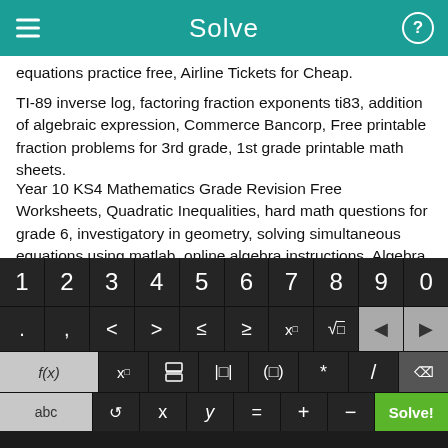Solve
equations practice free, Airline Tickets for Cheap.
TI-89 inverse log, factoring fraction exponents ti83, addition of algebraic expression, Commerce Bancorp, Free printable fraction problems for 3rd grade, 1st grade printable math sheets.
Year 10 KS4 Mathematics Grade Revision Free Worksheets, Quadratic Inequalities, hard math questions for grade 6, investigatory in geometry, solving simultaneous equations using matlab, online algebra instructions, Algebra printable questions.
[Figure (screenshot): Math equation solver app keyboard with number row (1-0), symbol row (<, >, ≤, ≥, x^□, √□, back arrows), function row (f(x), x_□, fraction, absolute value, parentheses, *, /, delete), and bottom row (abc, undo, x, y, =, +, -, Solve! button in green)]